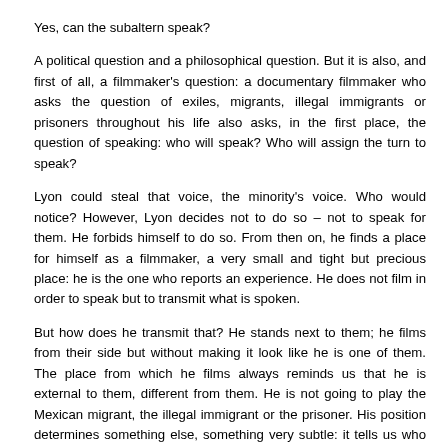Yes, can the subaltern speak?
A political question and a philosophical question. But it is also, and first of all, a filmmaker's question: a documentary filmmaker who asks the question of exiles, migrants, illegal immigrants or prisoners throughout his life also asks, in the first place, the question of speaking: who will speak? Who will assign the turn to speak?
Lyon could steal that voice, the minority's voice. Who would notice? However, Lyon decides not to do so – not to speak for them. He forbids himself to do so. From then on, he finds a place for himself as a filmmaker, a very small and tight but precious place: he is the one who reports an experience. He does not film in order to speak but to transmit what is spoken.
But how does he transmit that? He stands next to them; he films from their side but without making it look like he is one of them. The place from which he films always reminds us that he is external to them, different from them. He is not going to play the Mexican migrant, the illegal immigrant or the prisoner. His position determines something else, something very subtle: it tells us who he is, i.e. an American photographer and filmmaker, white and free. His situation is not comparable to theirs. But his freedom would not have the same taste if it did not reflect lives other than his own, lives that struggle to move freely from one space to another. And Lyon turns this question of the possible movement in space into a filmmaker's question. It is the